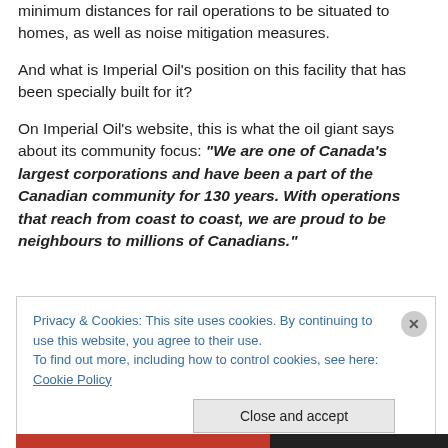minimum distances for rail operations to be situated to homes, as well as noise mitigation measures.
And what is Imperial Oil’s position on this facility that has been specially built for it?
On Imperial Oil’s website, this is what the oil giant says about its community focus: “We are one of Canada’s largest corporations and have been a part of the Canadian community for 130 years. With operations that reach from coast to coast, we are proud to be neighbours to millions of Canadians.”
Privacy & Cookies: This site uses cookies. By continuing to use this website, you agree to their use.
To find out more, including how to control cookies, see here: Cookie Policy
Close and accept